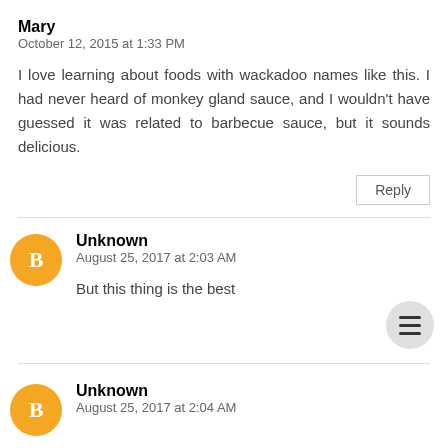Mary
October 12, 2015 at 1:33 PM
I love learning about foods with wackadoo names like this. I had never heard of monkey gland sauce, and I wouldn't have guessed it was related to barbecue sauce, but it sounds delicious.
Reply
Unknown
August 25, 2017 at 2:03 AM
But this thing is the best
Unknown
August 25, 2017 at 2:04 AM